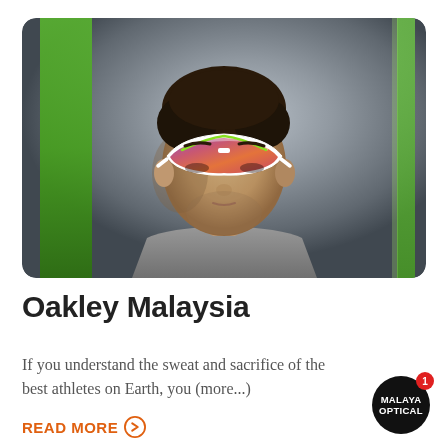[Figure (photo): A male athlete wearing white-framed Oakley sunglasses with an iridescent red/purple wide-shield lens, photographed against a blurred background with green vertical stripes. He wears a light grey shirt and has dark curly hair.]
Oakley Malaysia
If you understand the sweat and sacrifice of the best athletes on Earth, you (more...)
READ MORE →
[Figure (logo): Malaya Optical circular black badge logo with white text reading MALAYA OPTICAL and a red notification badge showing the number 1]